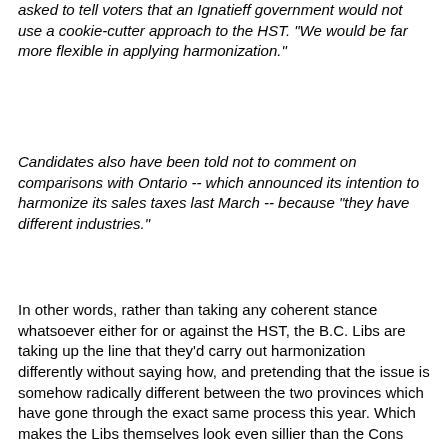asked to tell voters that an Ignatieff government would not use a cookie-cutter approach to the HST. "We would be far more flexible in applying harmonization."
Candidates also have been told not to comment on comparisons with Ontario -- which announced its intention to harmonize its sales taxes last March -- because "they have different industries."
In other words, rather than taking any coherent stance whatsoever either for or against the HST, the B.C. Libs are taking up the line that they'd carry out harmonization differently without saying how, and pretending that the issue is somehow radically different between the two provinces which have gone through the exact same process this year. Which makes the Libs themselves look even sillier than the Cons with their "don't blame us, we just spent $6 billion to make it happen" stance to the extent the issue does get discussed.
But more importantly, the Libs' internally conflicting position will mean that both them and the Cons will be open to...